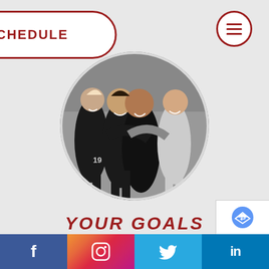SCHEDULE
[Figure (photo): Black and white circular photo of female volleyball players hugging and celebrating]
YOUR GOALS
We are a unique best practice operation; designed to develop,
f  [Instagram]  [Twitter]  in